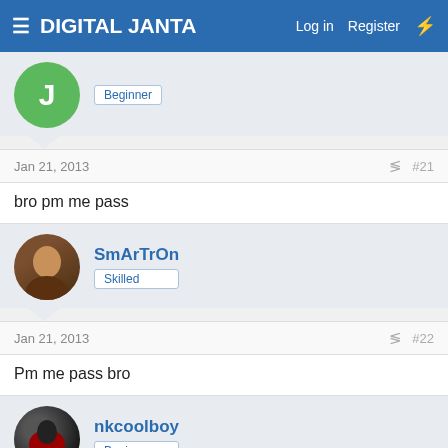DIGITAL JANTA   Log in   Register
Beginner
Jan 21, 2013   #21
bro pm me pass
SmArTrOn
Skilled
Jan 21, 2013   #22
Pm me pass bro
nkcoolboy
Beginner
Jan 21, 2013   #23